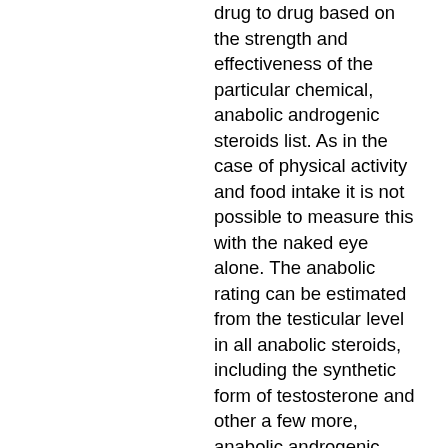drug to drug based on the strength and effectiveness of the particular chemical, anabolic androgenic steroids list. As in the case of physical activity and food intake it is not possible to measure this with the naked eye alone. The anabolic rating can be estimated from the testicular level in all anabolic steroids, including the synthetic form of testosterone and other a few more, anabolic androgenic steroids legal in australia. It can also be determined assuming the drug is taken as is. In this case the anabolic rating is 1.0. The anabolic rating of HGH is 1, androgenic steroids stress oxidative anabolic.0, the anabolic rating of clenbutorol is 1, androgenic steroids stress oxidative anabolic.0, the anabolic ratings of cortisol and cortisol derivatives are 1, androgenic steroids stress oxidative anabolic.5, and all steroid anabolic hormones vary in